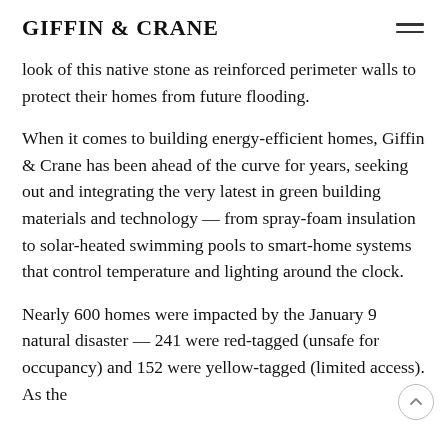GIFFIN & CRANE
look of this native stone as reinforced perimeter walls to protect their homes from future flooding.
When it comes to building energy-efficient homes, Giffin & Crane has been ahead of the curve for years, seeking out and integrating the very latest in green building materials and technology — from spray-foam insulation to solar-heated swimming pools to smart-home systems that control temperature and lighting around the clock.
Nearly 600 homes were impacted by the January 9 natural disaster — 241 were red-tagged (unsafe for occupancy) and 152 were yellow-tagged (limited access). As the